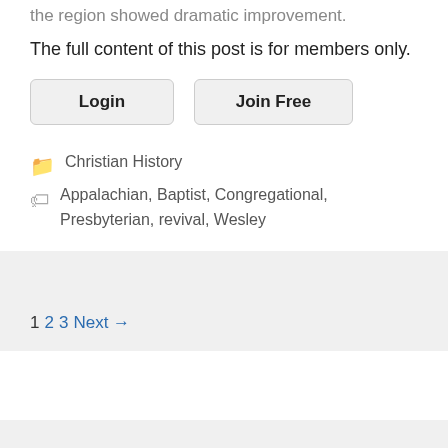the region showed dramatic improvement.
The full content of this post is for members only.
Login | Join Free
Christian History
Appalachian, Baptist, Congregational, Presbyterian, revival, Wesley
1 2 3 Next →